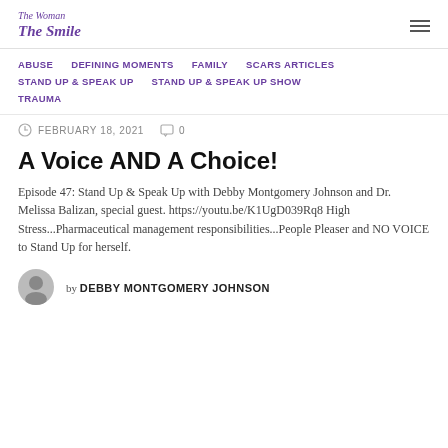The Woman behind The Smile
ABUSE
DEFINING MOMENTS
FAMILY
SCARS ARTICLES
STAND UP & SPEAK UP
STAND UP & SPEAK UP SHOW
TRAUMA
FEBRUARY 18, 2021   0
A Voice AND A Choice!
Episode 47: Stand Up & Speak Up with Debby Montgomery Johnson and Dr. Melissa Balizan, special guest. https://youtu.be/K1UgD039Rq8 High Stress...Pharmaceutical management responsibilities...People Pleaser and NO VOICE to Stand Up for herself.
by DEBBY MONTGOMERY JOHNSON